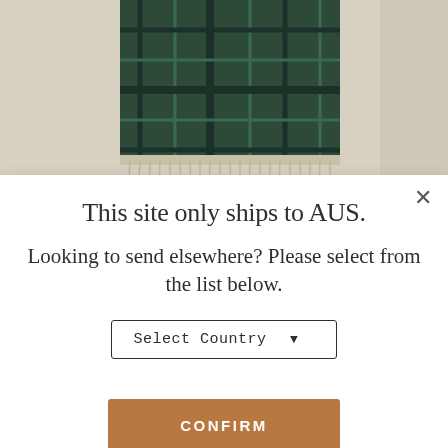[Figure (photo): Background photo showing a dark green plaid tartan scarf/blanket on a light beige surface]
This site only ships to AUS.
Looking to send elsewhere? Please select from the list below.
[Figure (screenshot): Select Country dropdown input field with arrow]
[Figure (other): CONFIRM button in brown/tan color]
[Figure (other): Color swatches row showing plaid and solid fabric color options: red plaid, red, tan plaid, olive/tan plaid, multicolor plaid, gold plaid, taupe, beige, light tan plaid, light grey plaid]